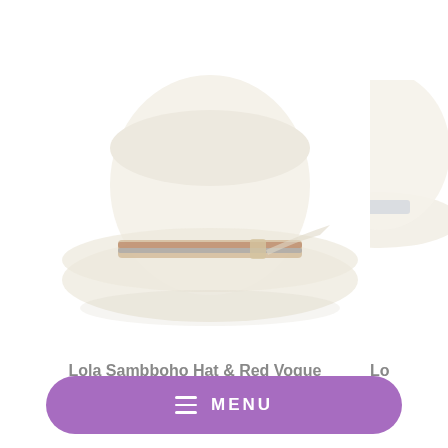[Figure (photo): White/cream wide-brim fedora hat with a multicolored hatband, photographed on white background. Left product image.]
[Figure (photo): Partial view of a second hat product, cropped on the right side of the page.]
Lola Sambboho Hat & Red Vogue hatband bundle
Lo
MENU